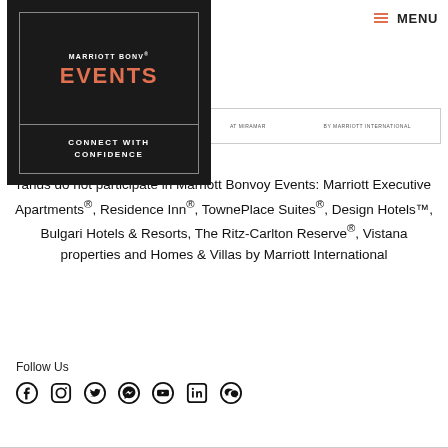MENU
[Figure (logo): Marriott Bonvoy Events – Connect with Confidence logo on dark background]
[Figure (logo): Secondary logos bar with small brand marks]
rands do not participate in Marriott Bonvoy Events: Marriott Executive Apartments®, Residence Inn®, TownePlace Suites®, Design Hotels™, Bulgari Hotels & Resorts, The Ritz-Carlton Reserve®, Vistana properties and Homes & Villas by Marriott International
Follow Us
[Figure (infographic): Social media icons: Facebook, Instagram, Twitter, Messenger, YouTube, LinkedIn, WeChat]